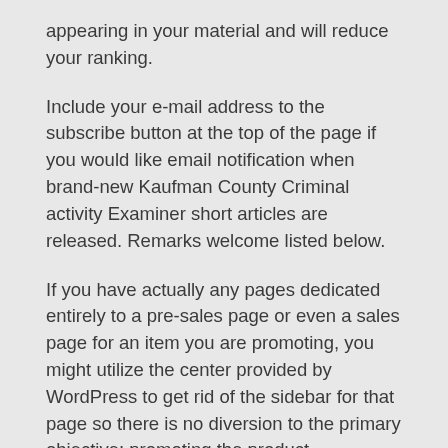appearing in your material and will reduce your ranking.
Include your e-mail address to the subscribe button at the top of the page if you would like email notification when brand-new Kaufman County Criminal activity Examiner short articles are released. Remarks welcome listed below.
If you have actually any pages dedicated entirely to a pre-sales page or even a sales page for an item you are promoting, you might utilize the center provided by WordPress to get rid of the sidebar for that page so there is no diversion to the primary objective: promoting the product. Nevertheless, the page header need to still be that for the entire blog site.